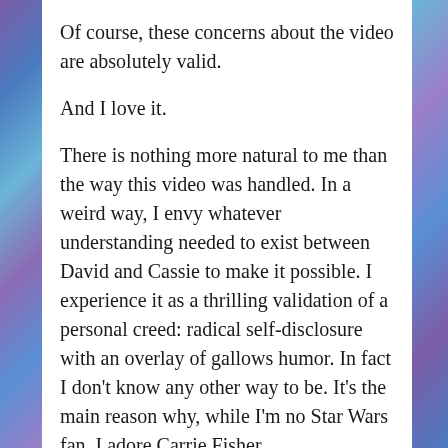Of course, these concerns about the video are absolutely valid.
And I love it.
There is nothing more natural to me than the way this video was handled. In a weird way, I envy whatever understanding needed to exist between David and Cassie to make it possible. I experience it as a thrilling validation of a personal creed: radical self-disclosure with an overlay of gallows humor. In fact I don’t know any other way to be. It’s the main reason why, while I’m no Star Wars fan, I adore Carrie Fisher.
As hinted at in my recent “writing to people from your past” post, it appears this quality of mine has